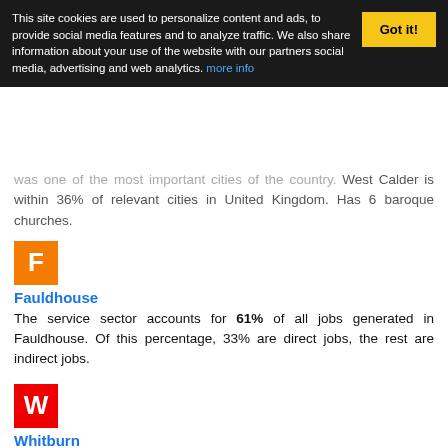This site cookies are used to personalize content and ads, to provide social media features and to analyze traffic. We also share information about your use of the website with our partners social media, advertising and web analytics. more info
was one of the most important cities of the country. West Calder is within 36% of relevant cities in United Kingdom. Has 6 baroque churches.
[Figure (other): Orange square icon with white letter F]
Fauldhouse
The service sector accounts for 61% of all jobs generated in Fauldhouse. Of this percentage, 33% are direct jobs, the rest are indirect jobs.
[Figure (other): Red square icon with white letter W]
Whitburn
Whitburn city has 7 tourist attractions and its citizens recommend that tourists who come to the city or its surroundings, visit these tourist spots.
[Figure (other): Orange square icon with white letter K (partially visible at bottom)]